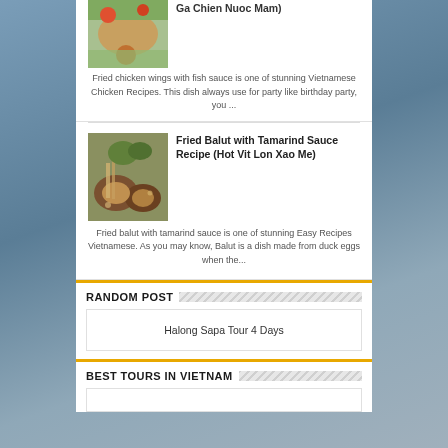[Figure (photo): Partial view of a Vietnamese chicken dish with colorful salad]
Ga Chien Nuoc Mam)
Fried chicken wings with fish sauce is one of stunning Vietnamese Chicken Recipes. This dish always use for party like birthday party, you ...
[Figure (photo): Fried balut served in wooden bowls with tamarind sauce and garnish]
Fried Balut with Tamarind Sauce Recipe (Hot Vit Lon Xao Me)
Fried balut with tamarind sauce is one of stunning Easy Recipes Vietnamese. As you may know, Balut is a dish made from duck eggs when the...
RANDOM POST
Halong Sapa Tour 4 Days
BEST TOURS IN VIETNAM